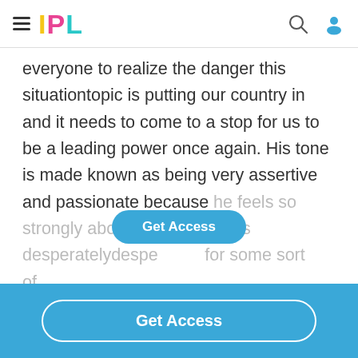IPL
everyone to realize the danger this situationtopic is putting our country in and it needs to come to a stop for us to be a leading power once again. His tone is made known as being very assertive and passionate because he feels so strongly about the topic and is desperatelydesperate for some sort of
[Figure (other): Get Access floating button overlay]
Get Access